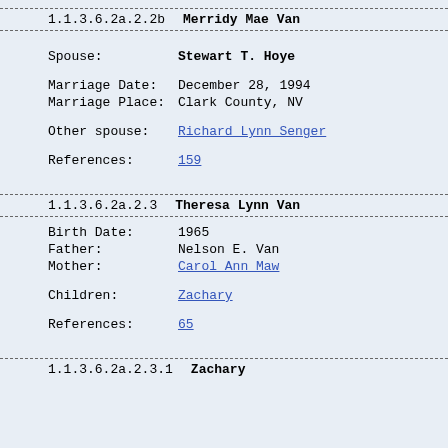1.1.3.6.2a.2.2b   Merridy Mae Van
Spouse: Stewart T. Hoye
Marriage Date: December 28, 1994
Marriage Place: Clark County, NV
Other spouse: Richard Lynn Senger
References: 159
1.1.3.6.2a.2.3   Theresa Lynn Van
Birth Date: 1965
Father: Nelson E. Van
Mother: Carol Ann Maw
Children: Zachary
References: 65
1.1.3.6.2a.2.3.1   Zachary